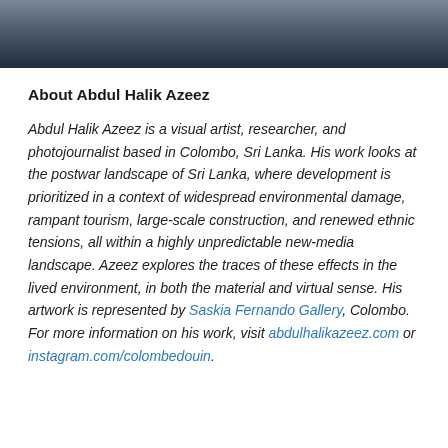[Figure (photo): Partial photo of a person wearing a dark t-shirt, cropped at the top of the page showing neck and shoulders area]
About Abdul Halik Azeez
Abdul Halik Azeez is a visual artist, researcher, and photojournalist based in Colombo, Sri Lanka. His work looks at the postwar landscape of Sri Lanka, where development is prioritized in a context of widespread environmental damage, rampant tourism, large-scale construction, and renewed ethnic tensions, all within a highly unpredictable new-media landscape. Azeez explores the traces of these effects in the lived environment, in both the material and virtual sense. His artwork is represented by Saskia Fernando Gallery, Colombo. For more information on his work, visit abdulhalikazeez.com or instagram.com/colombedouin.